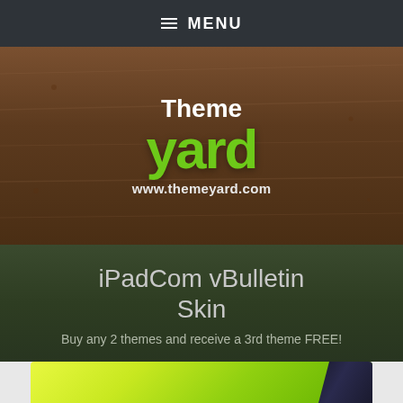≡ MENU
[Figure (logo): ThemeYard logo on wooden background with text 'Theme yard www.themeyard.com']
iPadCom vBulletin Skin
Buy any 2 themes and receive a 3rd theme FREE!
[Figure (screenshot): Partial preview of website/theme at the bottom of the page]